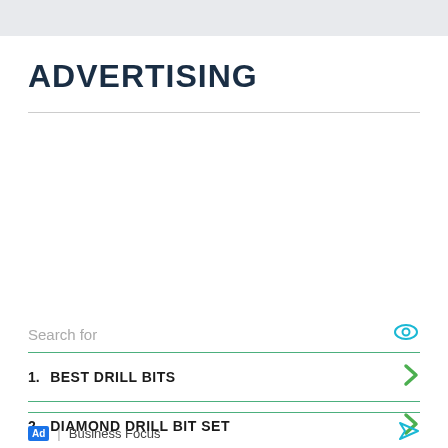ADVERTISING
1. BEST DRILL BITS
2. DIAMOND DRILL BIT SET
Ad | Business Focus